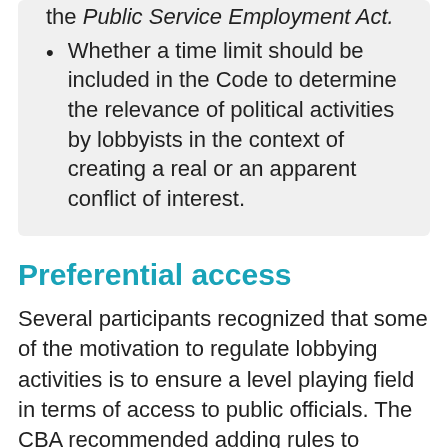the Public Service Employment Act.
Whether a time limit should be included in the Code to determine the relevance of political activities by lobbyists in the context of creating a real or an apparent conflict of interest.
Preferential access
Several participants recognized that some of the motivation to regulate lobbying activities is to ensure a level playing field in terms of access to public officials. The CBA recommended adding rules to ensure that lobbyists do not have an opportunity for preferential